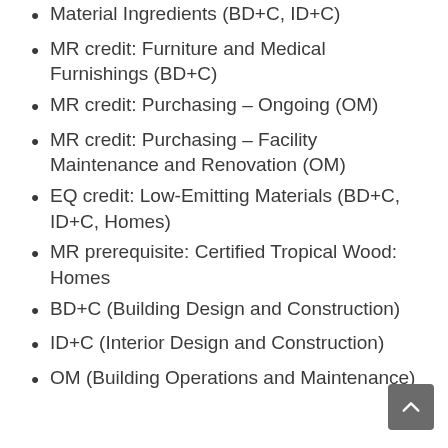Material Ingredients (BD+C, ID+C)
MR credit: Furniture and Medical Furnishings (BD+C)
MR credit: Purchasing – Ongoing (OM)
MR credit: Purchasing – Facility Maintenance and Renovation (OM)
EQ credit: Low-Emitting Materials (BD+C, ID+C, Homes)
MR prerequisite: Certified Tropical Wood: Homes
BD+C (Building Design and Construction)
ID+C (Interior Design and Construction)
OM (Building Operations and Maintenance)